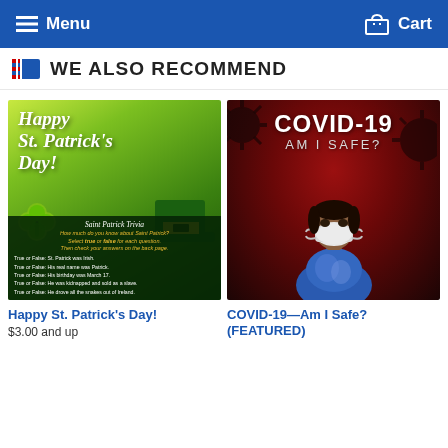Menu   Cart
WE ALSO RECOMMEND
[Figure (illustration): Happy St. Patrick's Day themed book/pamphlet cover with green background, leprechaun hat, clovers, and Saint Patrick Trivia section at the bottom]
[Figure (photo): COVID-19 Am I Safe? book cover showing a person wearing a face mask against a dark red background with virus illustration]
Happy St. Patrick's Day!
$3.00 and up
COVID-19—Am I Safe? (FEATURED)